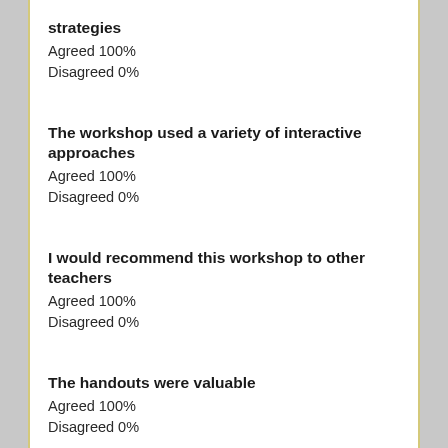strategies
Agreed 100%
Disagreed 0%
The workshop used a variety of interactive approaches
Agreed 100%
Disagreed 0%
I would recommend this workshop to other teachers
Agreed 100%
Disagreed 0%
The handouts were valuable
Agreed 100%
Disagreed 0%
Registering for the workshop was easy